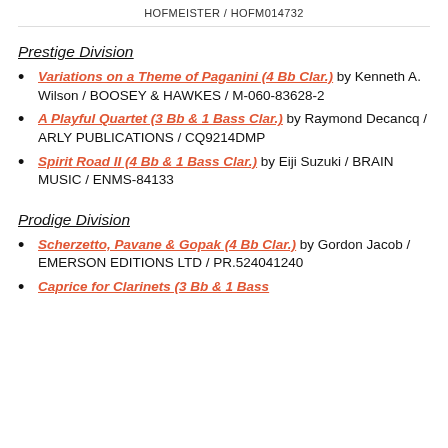HOFMEISTER / HOFM014732
Prestige Division
Variations on a Theme of Paganini (4 Bb Clar.) by Kenneth A. Wilson / BOOSEY & HAWKES / M-060-83628-2
A Playful Quartet (3 Bb & 1 Bass Clar.) by Raymond Decancq / ARLY PUBLICATIONS / CQ9214DMP
Spirit Road II (4 Bb & 1 Bass Clar.) by Eiji Suzuki / BRAIN MUSIC / ENMS-84133
Prodige Division
Scherzetto, Pavane & Gopak (4 Bb Clar.) by Gordon Jacob / EMERSON EDITIONS LTD / PR.524041240
Caprice for Clarinets (3 Bb & 1 Bass